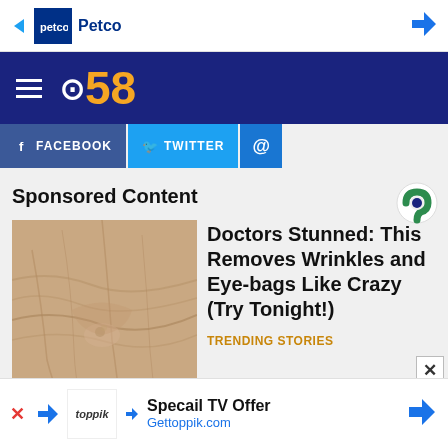[Figure (screenshot): Petco advertisement banner at top of page with Petco logo and navigation arrow]
[Figure (logo): CBS 58 logo on dark blue navigation bar with hamburger menu icon]
[Figure (screenshot): Social media buttons: Facebook and Twitter share buttons]
Sponsored Content
[Figure (photo): Close-up photo of skin with wrinkles around eye area]
Doctors Stunned: This Removes Wrinkles and Eye-bags Like Crazy (Try Tonight!)
TRENDING STORIES
[Figure (screenshot): Toppik advertisement banner at bottom: Specail TV Offer, Gettoppik.com]